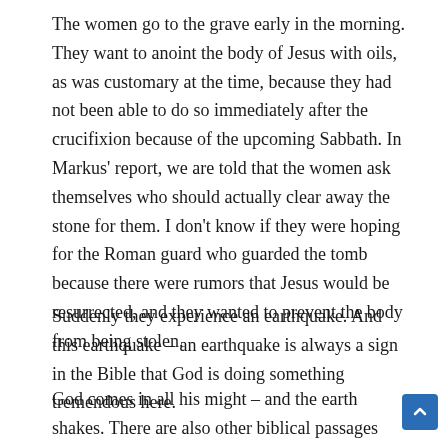The women go to the grave early in the morning. They want to anoint the body of Jesus with oils, as was customary at the time, because they had not been able to do so immediately after the crucifixion because of the upcoming Sabbath. In Markus' report, we are told that the women ask themselves who should actually clear away the stone for them. I don't know if they were hoping for the Roman guard who guarded the tomb because there were rumors that Jesus would be resurrected, and they wanted to prevent the body from being stolen.
Suddenly they experience an earthquake. And this earthquake – an earthquake is always a sign in the Bible that God is doing something tremendous here.
God comes in all his might – and the earth shakes. There are also other biblical passages that show that God treats us humans in a very fine way, with Elijah, where God acts with a gentle breath of wind, but here, like on Good Friday, there is an earthquake that shows that something tremendous is happening here. Like a piece of music, there is a big